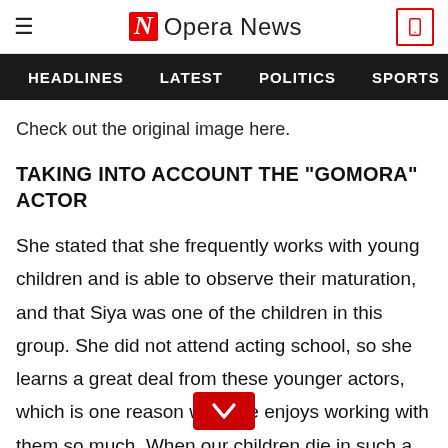Opera News
HEADLINES  LATEST  POLITICS  SPORTS
Check out the original image here.
TAKING INTO ACCOUNT THE "GOMORA" ACTOR
She stated that she frequently works with young children and is able to observe their maturation, and that Siya was one of the children in this group. She did not attend acting school, so she learns a great deal from these younger actors, which is one reason why she enjoys working with them so much. When our children die in such a dreadful way, I can't help but quest[ion] whom do we pass the